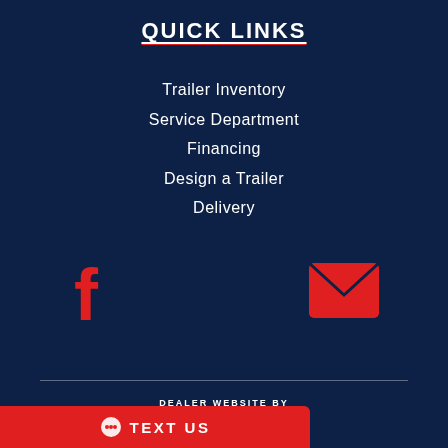QUICK LINKS
Trailer Inventory
Service Department
Financing
Design a Trailer
Delivery
[Figure (illustration): Red Facebook icon (f) and red envelope/email icon side by side on dark navy background]
DEALER WEBSITE BY trailercentral
TEXT US